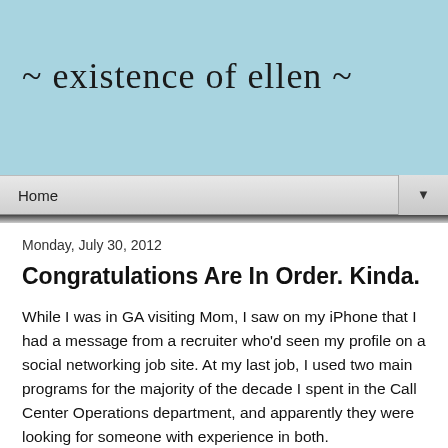~ existence of ellen ~
Home
Monday, July 30, 2012
Congratulations Are In Order. Kinda.
While I was in GA visiting Mom, I saw on my iPhone that I had a message from a recruiter who'd seen my profile on a social networking job site.  At my last job, I used two main programs for the majority of the decade I spent in the Call Center Operations department, and apparently they were looking for someone with experience in both.
I emailed back, they didn't answer.  A couple of days after I returned to Orlando I figured why not search for the job and apply?  I was clearly qualified.  Even though it was not at all the kind of job I was hoping to find.  I applied online and sent